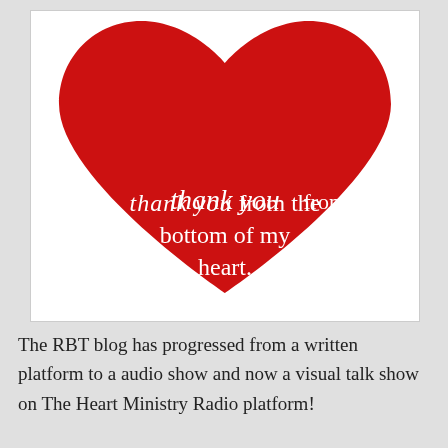[Figure (illustration): A large red heart shape on a white background with text overlay reading 'thank you from the bottom of my heart.' in white cursive and serif fonts.]
The RBT blog has progressed from a written platform to a audio show and now a visual talk show on The Heart Ministry Radio platform!